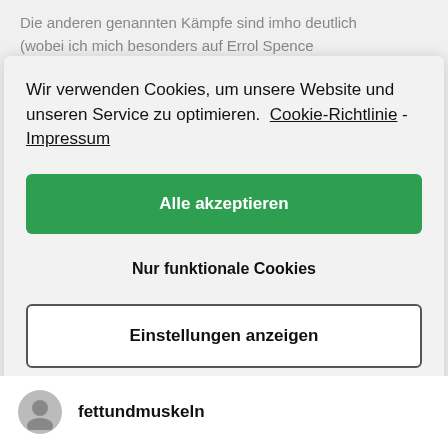Die anderen genannten Kämpfe sind imho deutlich (wobei ich mich besonders auf Errol Spence
[Figure (screenshot): Cookie consent modal dialog with green 'Alle akzeptieren' button, 'Nur funktionale Cookies' text button, and 'Einstellungen anzeigen' outlined button]
fettundmuskeln